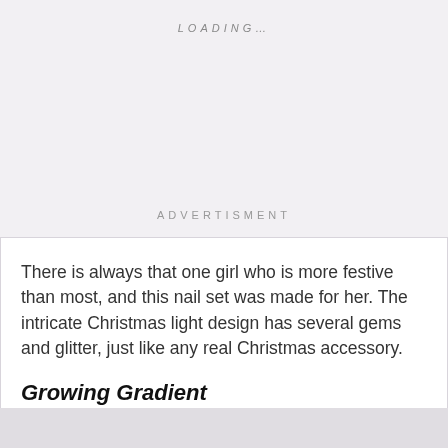LOADING…
ADVERTISMENT
There is always that one girl who is more festive than most, and this nail set was made for her. The intricate Christmas light design has several gems and glitter, just like any real Christmas accessory.
Growing Gradient